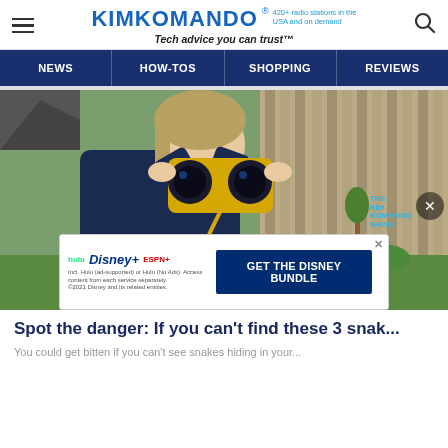KIMKOMANDO® 420+ radio stations in the USA and on demand — Tech advice you can trust™
[Figure (screenshot): Navigation bar with links: NEWS, HOW-TOS, SHOPPING, REVIEWS on dark blue background]
[Figure (photo): Person looking through yellow binoculars in a backyard setting. The Kim Komando Show watermark visible at bottom right. A video player close button (X) appears at bottom right.]
[Figure (other): Disney Bundle advertisement banner: hulu, Disney+, ESPN+ logos with GET THE DISNEY BUNDLE call-to-action text and fine print: Incl. Hulu (ad-supported) or Hulu (No Ads). Access content from each service separately. ©2021 Disney and its related entities.]
Spot the danger: If you can't find these 3 snak...
You could get bitten if you can't see snakes hiding in your...